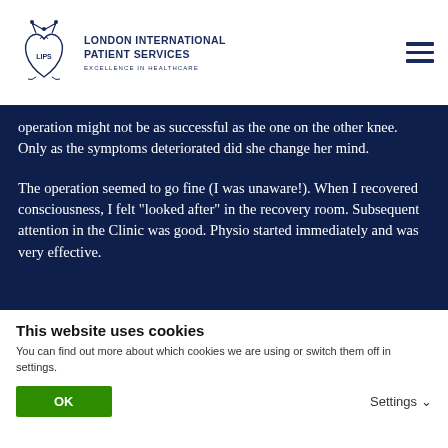[Figure (logo): London International Patient Services (LIPS) logo — a stylized heart with crown and decorative elements, with company name and tagline 'EXCELLENCE IN HEALTHCARE']
operation might not be as successful as the one on the other knee. Only as the symptoms deteriorated did she change her mind.

The operation seemed to go fine (I was unaware!). When I recovered consciousness, I felt "looked after" in the recovery room. Subsequent attention in the Clinic was good. Physio started immediately and was very effective.
This website uses cookies
You can find out more about which cookies we are using or switch them off in settings.